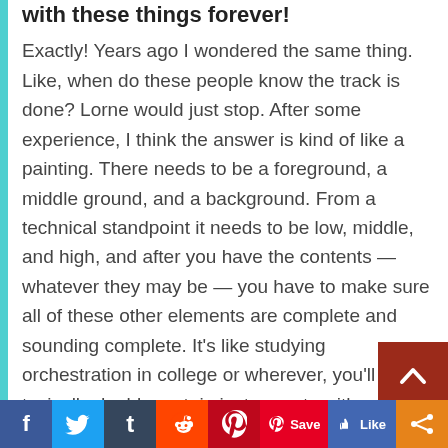with these things forever!
Exactly! Years ago I wondered the same thing. Like, when do these people know the track is done? Lorne would just stop. After some experience, I think the answer is kind of like a painting. There needs to be a foreground, a middle ground, and a background. From a technical standpoint it needs to be low, middle, and high, and after you have the contents — whatever they may be — you have to make sure all of these other elements are complete and sounding complete. It's like studying orchestration in college or wherever, you'll typically double certain instruments with one other, and when you're building up in range
f  t  Save  Like  share